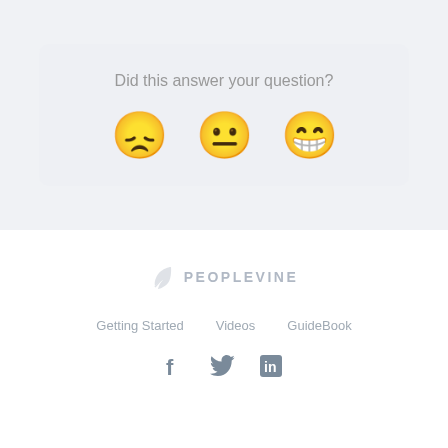Did this answer your question?
[Figure (illustration): Three emoji faces: frowning (dissatisfied), neutral, and grinning (happy) as a feedback rating widget]
[Figure (logo): Peoplevine logo with a feather/leaf icon and the text PEOPLEVINE in uppercase gray letters]
Getting Started   Videos   GuideBook
[Figure (illustration): Social media icons: Facebook (f), Twitter (bird), LinkedIn (in)]